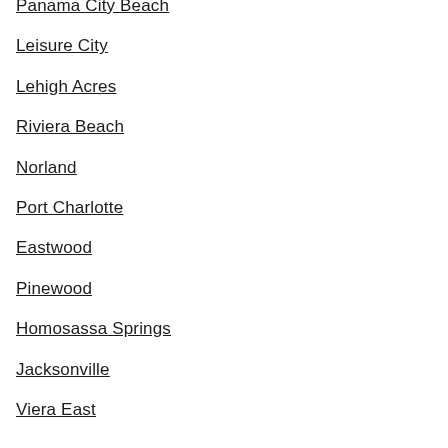Panama City Beach
Leisure City
Lehigh Acres
Riviera Beach
Norland
Port Charlotte
Eastwood
Pinewood
Homosassa Springs
Jacksonville
Viera East